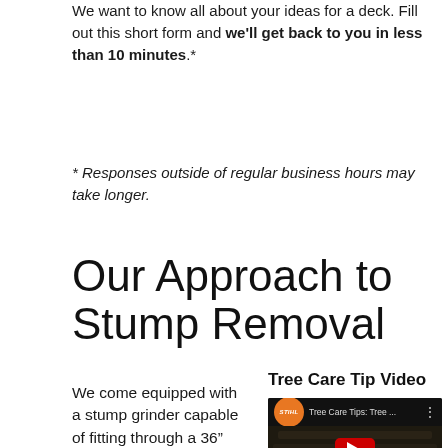We want to know all about your ideas for a deck. Fill out this short form and we'll get back to you in less than 10 minutes.*
* Responses outside of regular business hours may take longer.
Our Approach to Stump Removal
We come equipped with a stump grinder capable of fitting through a 36" gate.
[Figure (screenshot): Embedded YouTube video thumbnail showing a STIHL Tree Care Tips video with title 'Tree Care Tips: Tree ...' and a dark video preview with wood/log imagery and a YouTube play button visible.]